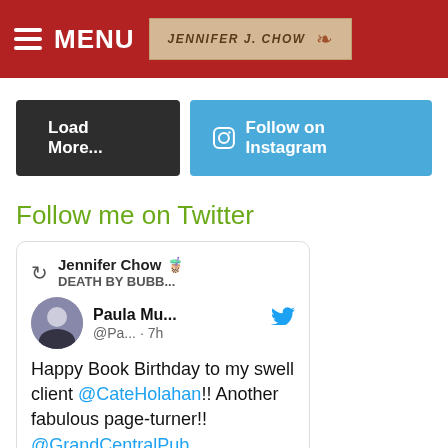MENU Jennifer J. Chow
[Figure (screenshot): Two buttons: 'Load More...' in dark gray and 'Follow on Instagram' in blue]
Follow me on Twitter
[Figure (screenshot): Embedded tweet card: Jennifer Chow retweeted. Paula Mu... @Pa... 7h: Happy Book Birthday to my swell client @CateHolahan!! Another fabulous page-turner!! @GrandCentralPub. With a book image preview showing HAPPY RELEASE DAY and THE DARKNESS.]